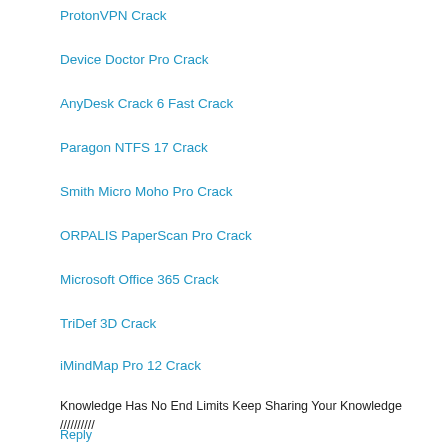ProtonVPN Crack
Device Doctor Pro Crack
AnyDesk Crack 6 Fast Crack
Paragon NTFS 17 Crack
Smith Micro Moho Pro Crack
ORPALIS PaperScan Pro Crack
Microsoft Office 365 Crack
TriDef 3D Crack
iMindMap Pro 12 Crack
Knowledge Has No End Limits Keep Sharing Your Knowledge //////////
Reply